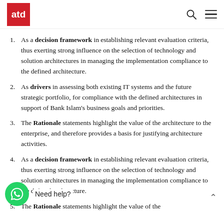atd
As a decision framework in establishing relevant evaluation criteria, thus exerting strong influence on the selection of technology and solution architectures in managing the implementation compliance to the defined architecture.
As drivers in assessing both existing IT systems and the future strategic portfolio, for compliance with the defined architectures in support of Bank Islam's business goals and priorities.
The Rationale statements highlight the value of the architecture to the enterprise, and therefore provides a basis for justifying architecture activities.
As a decision framework in establishing relevant evaluation criteria, thus exerting strong influence on the selection of technology and solution architectures in managing the implementation compliance to the defined architecture.
The Rationale statements highlight the value of the